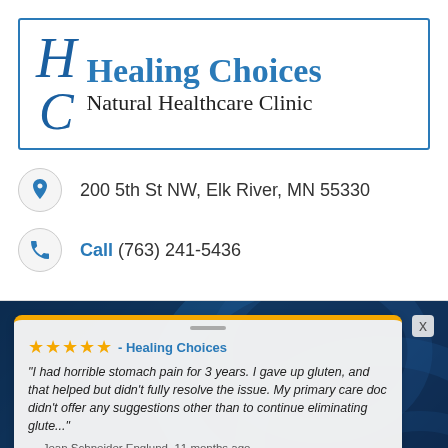[Figure (logo): Healing Choices Natural Healthcare Clinic logo with stylized H and C letters in a blue bordered box]
200 5th St NW, Elk River, MN 55330
Call (763) 241-5436
[Figure (screenshot): Review card overlay on a blue swirl background showing 5-star review for Healing Choices by Jean Schneider Englund, 11 months ago: 'I had horrible stomach pain for 3 years. I gave up gluten, and that helped but didn't fully resolve the issue. My primary care doc didn't offer any suggestions other than to continue eliminating glute...' — powered by Review Wave]